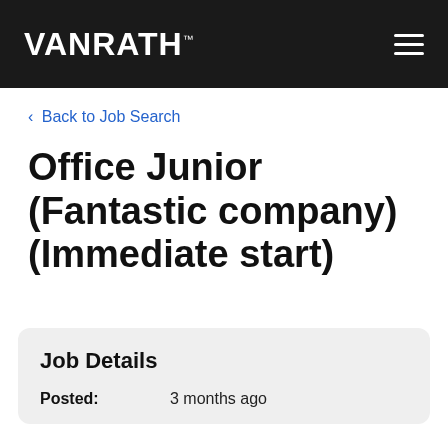VANRATH
< Back to Job Search
Office Junior (Fantastic company) (Immediate start)
Job Details
Posted: 3 months ago